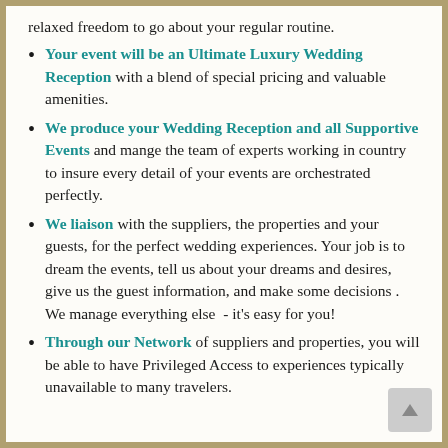relaxed freedom to go about your regular routine.
Your event will be an Ultimate Luxury Wedding Reception with a blend of special pricing and valuable amenities.
We produce your Wedding Reception and all Supportive Events and mange the team of experts working in country to insure every detail of your events are orchestrated perfectly.
We liaison with the suppliers, the properties and your guests, for the perfect wedding experiences. Your job is to dream the events, tell us about your dreams and desires, give us the guest information, and make some decisions . We manage everything else - it's easy for you!
Through our Network of suppliers and properties, you will be able to have Privileged Access to experiences typically unavailable to many travelers.